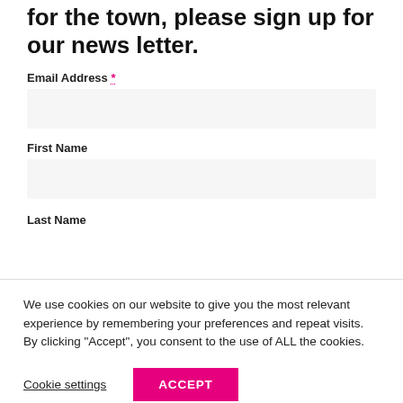for the town, please sign up for our news letter.
Email Address *
First Name
Last Name
We use cookies on our website to give you the most relevant experience by remembering your preferences and repeat visits. By clicking "Accept", you consent to the use of ALL the cookies.
Cookie settings
ACCEPT